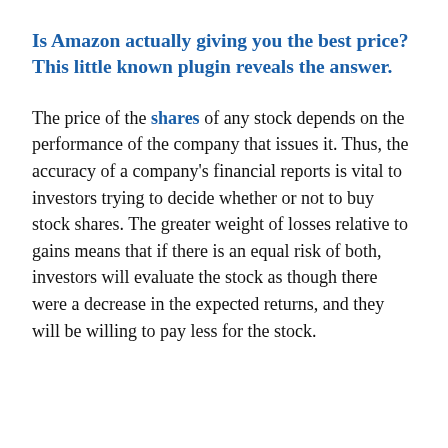Is Amazon actually giving you the best price? This little known plugin reveals the answer.
The price of the shares of any stock depends on the performance of the company that issues it. Thus, the accuracy of a company's financial reports is vital to investors trying to decide whether or not to buy stock shares. The greater weight of losses relative to gains means that if there is an equal risk of both, investors will evaluate the stock as though there were a decrease in the expected returns, and they will be willing to pay less for the stock.